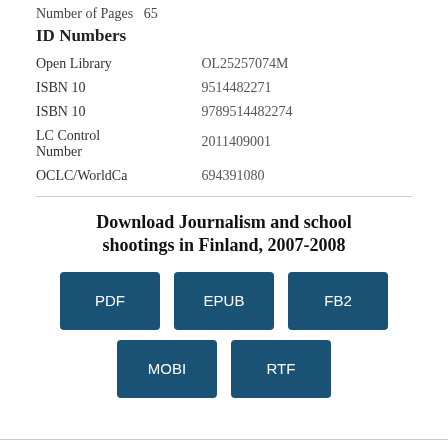Number of Pages   65
ID Numbers
|  |  |
| --- | --- |
| Open Library | OL25257074M |
| ISBN 10 | 9514482271 |
| ISBN 10 | 9789514482274 |
| LC Control Number | 2011409001 |
| OCLC/WorldCa | 694391080 |
Download Journalism and school shootings in Finland, 2007-2008
PDF
EPUB
FB2
MOBI
RTF